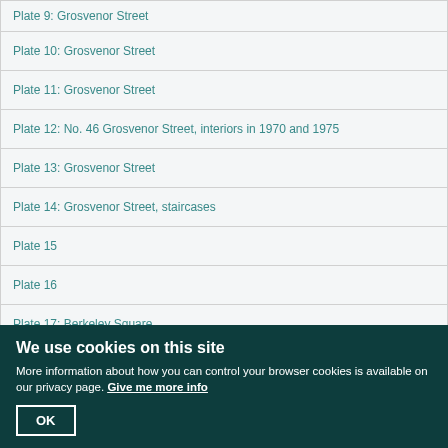Plate 9: Grosvenor Street
Plate 10: Grosvenor Street
Plate 11: Grosvenor Street
Plate 12: No. 46 Grosvenor Street, interiors in 1970 and 1975
Plate 13: Grosvenor Street
Plate 14: Grosvenor Street, staircases
Plate 15
Plate 16
Plate 17: Berkeley Square
Plate 18: Bourdon House, No. 2 Davies Street
We use cookies on this site
More information about how you can control your browser cookies is available on our privacy page. Give me more info
OK